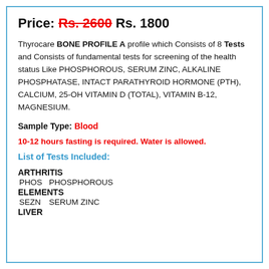Price: Rs. 2600 Rs. 1800
Thyrocare BONE PROFILE A profile which Consists of 8 Tests and Consists of fundamental tests for screening of the health status Like PHOSPHOROUS, SERUM ZINC, ALKALINE PHOSPHATASE, INTACT PARATHYROID HORMONE (PTH), CALCIUM, 25-OH VITAMIN D (TOTAL), VITAMIN B-12, MAGNESIUM.
Sample Type: Blood
10-12 hours fasting is required. Water is allowed.
List of Tests Included:
ARTHRITIS
PHOS  PHOSPHOROUS
ELEMENTS
SEZN  SERUM ZINC
LIVER